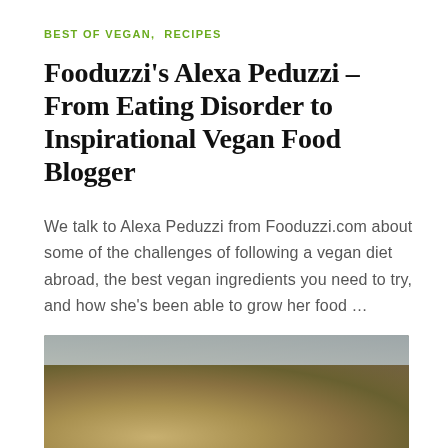BEST OF VEGAN,  RECIPES
Fooduzzi's Alexa Peduzzi – From Eating Disorder to Inspirational Vegan Food Blogger
We talk to Alexa Peduzzi from Fooduzzi.com about some of the challenges of following a vegan diet abroad, the best vegan ingredients you need to try, and how she's been able to grow her food ...
[Figure (photo): Close-up photo of golden-brown textured food pieces (likely breaded or crusted vegan food) against a light blue sky background]